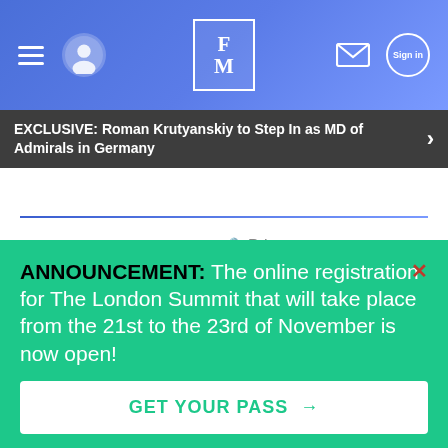[Figure (screenshot): Website header with navigation: hamburger menu icon, avatar/profile icon, FM logo in center, mail icon, and Sign In button. Blue gradient background.]
EXCLUSIVE: Roman Krutyanskiy to Step In as MD of Admirals in Germany
Comments
Community
Privacy Policy
Login
Favorite
Sort by Best
Start the discussion…
ANNOUNCEMENT: The online registration for The London Summit that will take place from the 21st to the 23rd of November is now open!
GET YOUR PASS →